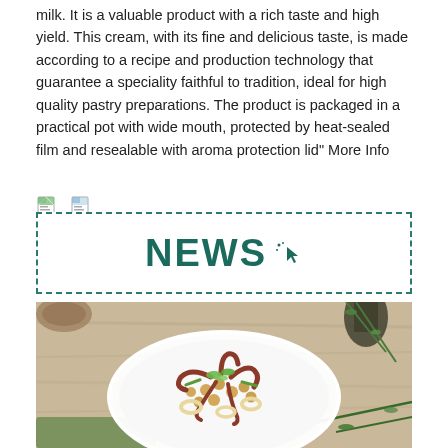milk. It is a valuable product with a rich taste and high yield. This cream, with its fine and delicious taste, is made according to a recipe and production technology that guarantee a speciality faithful to tradition, ideal for high quality pastry preparations. The product is packaged in a practical pot with wide mouth, protected by heat-sealed film and resealable with aroma protection lid" More Info
[Figure (other): Two small document/file icons side by side]
[Figure (infographic): NEWS banner with dashed border and cursor icon, teal/dark green color]
[Figure (photo): Food photo: a white decorative plate with a seafood and chickpea salad (octopus, calamari rings, chickpeas, green beans, fresh herbs) on a rustic wooden table with herbs and dark bottle in background]